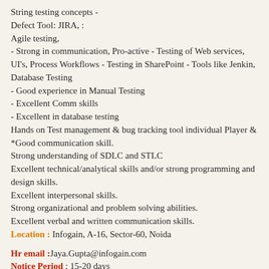String testing concepts -
Defect Tool: JIRA, :
Agile testing,
- Strong in communication, Pro-active - Testing of Web services, UI's, Process Workflows - Testing in SharePoint - Tools like Jenkin, Database Testing
- Good experience in Manual Testing
- Excellent Comm skills
- Excellent in database testing
Hands on Test management & bug tracking tool individual Player &
*Good communication skill.
Strong understanding of SDLC and STLC
Excellent technical/analytical skills and/or strong programming and design skills.
Excellent interpersonal skills.
Strong organizational and problem solving abilities.
Excellent verbal and written communication skills.
Location : Infogain, A-16, Sector-60, Noida
Hr email :Jaya.Gupta@infogain.com
Notice Period : 15-20 days